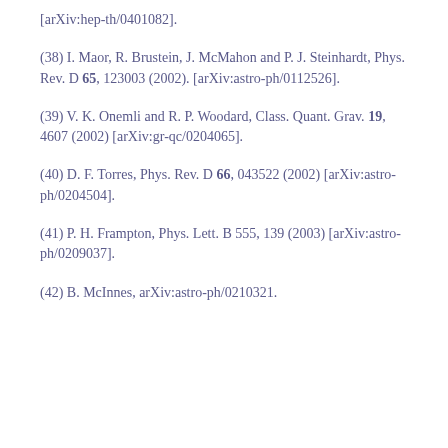[arXiv:hep-th/0401082].
(38) I. Maor, R. Brustein, J. McMahon and P. J. Steinhardt, Phys. Rev. D 65, 123003 (2002). [arXiv:astro-ph/0112526].
(39) V. K. Onemli and R. P. Woodard, Class. Quant. Grav. 19, 4607 (2002) [arXiv:gr-qc/0204065].
(40) D. F. Torres, Phys. Rev. D 66, 043522 (2002) [arXiv:astro-ph/0204504].
(41) P. H. Frampton, Phys. Lett. B 555, 139 (2003) [arXiv:astro-ph/0209037].
(42) B. McInnes, arXiv:astro-ph/0210321.